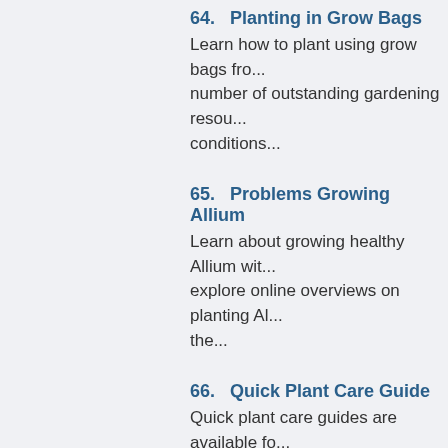64.   Planting in Grow Bags
Learn how to plant using grow bags fro... number of outstanding gardening resou... conditions...
65.   Problems Growing Allium
Learn about growing healthy Allium wit... explore online overviews on planting Al... the...
66.   Quick Plant Care Guide
Quick plant care guides are available fo... resources featured at this green TabSta... that...
67.   Tips for a Garden Wedding
Take a look at this TabStart page to exp... planning a garden wedding. While plan... tough...
68.   Growing Sun Flowers